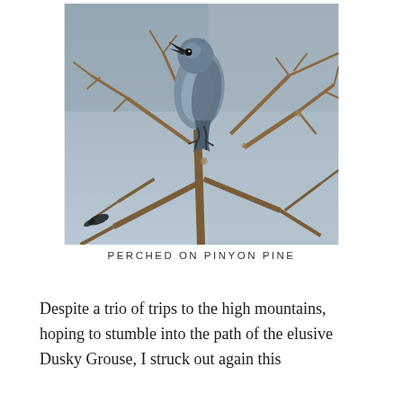[Figure (photo): A gray bird (likely a Clark's Nutcracker or similar corvid) perched on bare brown branches of a pinyon pine tree, photographed against a muted gray-blue sky. The bird is gray with darker wings and tail, facing slightly upward-left.]
PERCHED ON PINYON PINE
Despite a trio of trips to the high mountains, hoping to stumble into the path of the elusive Dusky Grouse, I struck out again this